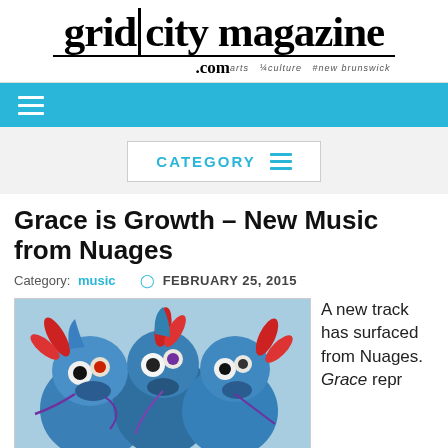grid|city magazine .com  arts  culture  new brunswick
Grace is Growth – New Music from Nuages
Category: music  FEBRUARY 25, 2015
[Figure (illustration): Colorful illustration of blue fantasy creatures with red feathered accents and large eyes]
A new track has surfaced from Nuages. Grace repr